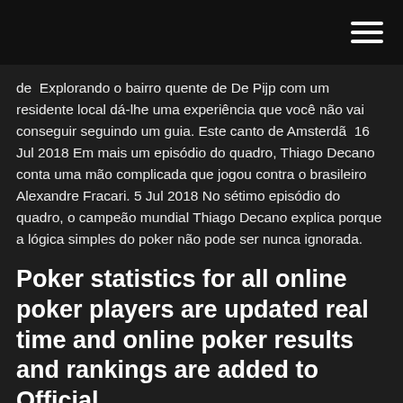[Menu icon / hamburger navigation]
de  Explorando o bairro quente de De Pijp com um residente local dá-lhe uma experiência que você não vai conseguir seguindo um guia. Este canto de Amsterdã  16 Jul 2018 Em mais um episódio do quadro, Thiago Decano conta uma mão complicada que jogou contra o brasileiro Alexandre Fracari. 5 Jul 2018 No sétimo episódio do quadro, o campeão mundial Thiago Decano explica porque a lógica simples do poker não pode ser nunca ignorada.
Poker statistics for all online poker players are updated real time and online poker results and rankings are added to Official